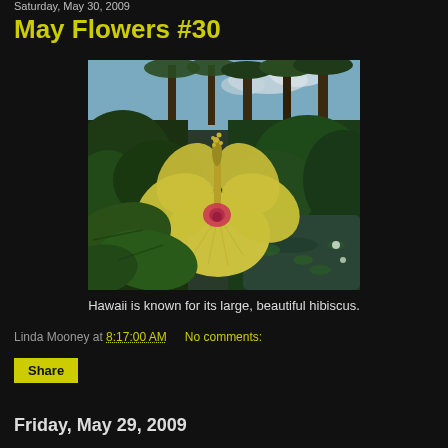Saturday, May 30, 2009
May Flowers #30
[Figure (photo): A large yellow hibiscus flower with pink center in the foreground, surrounded by tropical green foliage and palm trees. A pond with lily pads is visible in the background under a partly cloudy sky.]
Hawaii is known for its large, beautiful hibiscus.
Linda Mooney at 8:17:00 AM   No comments:
Share
Friday, May 29, 2009